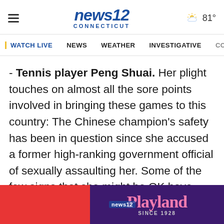news12 CONNECTICUT
WATCH LIVE  NEWS  WEATHER  INVESTIGATIVE  CO
- Tennis player Peng Shuai. Her plight touches on almost all the sore points involved in bringing these games to this country: The Chinese champion's safety has been in question since she accused a former high-ranking government official of sexually assaulting her. Some of the few signs that she might be OK have come courtesy of the IOC, which has shown pictures of Bach in video meetings with Peng, The IOC has
[Figure (other): Playland advertisement banner with red left section and purple right section showing Playland logo text in pink with 'SINCE 1928' below it]